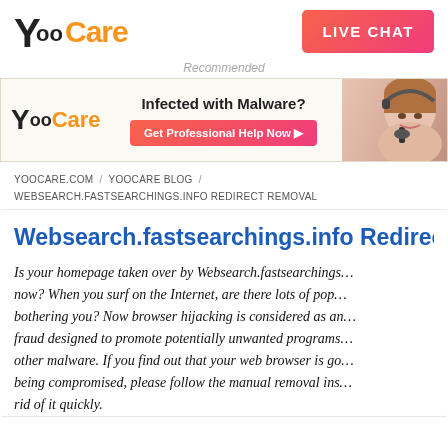[Figure (logo): YooCare logo with stylized Y, 'oo' in black and 'Care' in orange]
[Figure (other): LIVE CHAT button — pink/red gradient rounded rectangle with white bold text]
Recommended
[Figure (infographic): YooCare ad banner: logo on left, 'Infected with Malware? Get Professional Help Now >' button in center, headset woman photo on right]
YOOCARE.COM / YOOCARE BLOG / WEBSEARCH.FASTSEARCHINGS.INFO REDIRECT REMOVAL
Websearch.fastsearchings.info Redirect Rem...
Is your homepage taken over by Websearch.fastsearchings... now? When you surf on the Internet, are there lots of pop... bothering you? Now browser hijacking is considered as an... fraud designed to promote potentially unwanted programs... other malware. If you find out that your web browser is go... being compromised, please follow the manual removal ins... rid of it quickly.